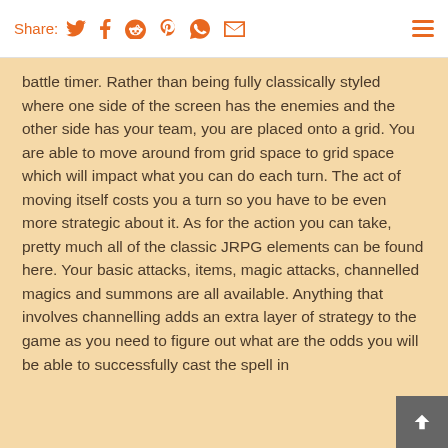Share: [Twitter] [Facebook] [Reddit] [Pinterest] [WhatsApp] [Email]
battle timer. Rather than being fully classically styled where one side of the screen has the enemies and the other side has your team, you are placed onto a grid. You are able to move around from grid space to grid space which will impact what you can do each turn. The act of moving itself costs you a turn so you have to be even more strategic about it. As for the action you can take, pretty much all of the classic JRPG elements can be found here. Your basic attacks, items, magic attacks, channelled magics and summons are all available. Anything that involves channelling adds an extra layer of strategy to the game as you need to figure out what are the odds you will be able to successfully cast the spell in